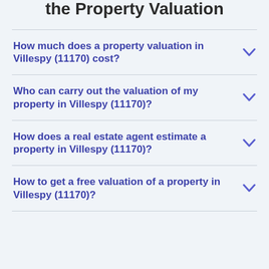the Property Valuation
How much does a property valuation in Villespy (11170) cost?
Who can carry out the valuation of my property in Villespy (11170)?
How does a real estate agent estimate a property in Villespy (11170)?
How to get a free valuation of a property in Villespy (11170)?